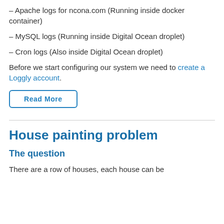– Apache logs for ncona.com (Running inside docker container)
– MySQL logs (Running inside Digital Ocean droplet)
– Cron logs (Also inside Digital Ocean droplet)
Before we start configuring our system we need to create a Loggly account.
Read More
House painting problem
The question
There are a row of houses, each house can be